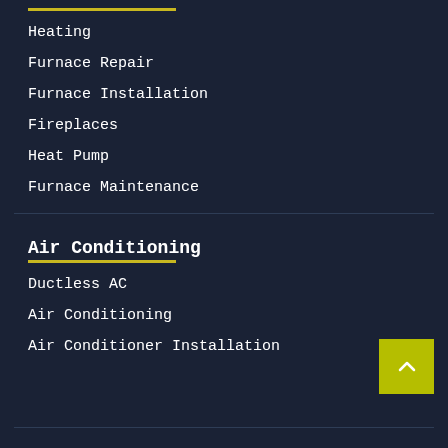Heating
Furnace Repair
Furnace Installation
Fireplaces
Heat Pump
Furnace Maintenance
Air Conditioning
Ductless AC
Air Conditioning
Air Conditioner Installation